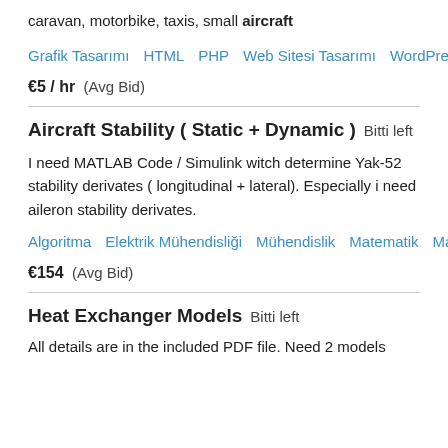caravan, motorbike, taxis, small aircraft
Grafik Tasarımı   HTML   PHP   Web Sitesi Tasarımı   WordPress
€5 / hr  (Avg Bid)
Aircraft Stability ( Static + Dynamic )  Bitti left
I need MATLAB Code / Simulink witch determine Yak-52 stability derivates ( longitudinal + lateral). Especially i need aileron stability derivates.
Algoritma   Elektrik Mühendisliği   Mühendislik   Matematik   Matlab ve Mathematica
€154  (Avg Bid)
Heat Exchanger Models  Bitti left
All details are in the included PDF file. Need 2 models